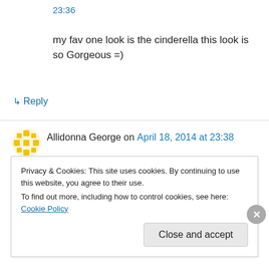23:36
my fav one look is the cinderella this look is so Gorgeous =)
↳ Reply
Allidonna George on April 18, 2014 at 23:38
Princess Cinderella Tutorial
↳ Reply
Privacy & Cookies: This site uses cookies. By continuing to use this website, you agree to their use.
To find out more, including how to control cookies, see here: Cookie Policy
Close and accept